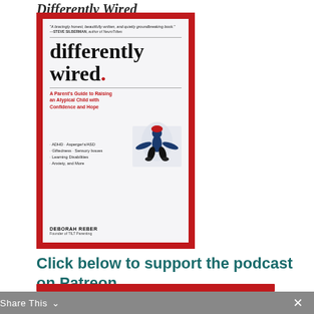Differently Wired
[Figure (photo): Book cover of 'differently wired.' by Deborah Reber. Red border with white/light gray interior. Large bold serif text reads 'differently wired.' with a red period. Subtitle: 'A Parent's Guide to Raising an Atypical Child with Confidence and Hope'. Bullet points list ADHD, Asperger's/ASD, Giftedness, Sensory Issues, Learning Disabilities, Anxiety, and More. Photo of a child in a red hat making a snow angel. Author name: DEBORAH REBER, Founder of TILT Parenting. Blurb from Steve Silberman at top.]
Click below to support the podcast on Patreon
Share This ∨ ×